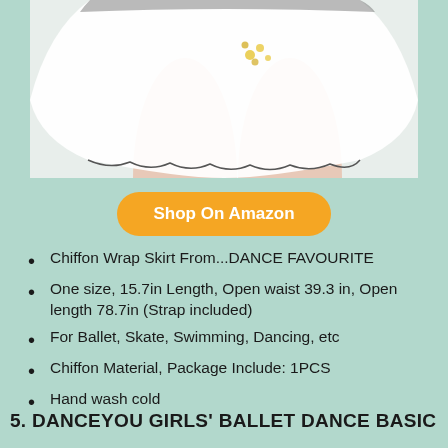[Figure (photo): Product photo of a white chiffon wrap ballet skirt with yellow floral embroidery details, shown on a mannequin/model, cropped view showing the skirt hem and legs]
Shop On Amazon
Chiffon Wrap Skirt From...DANCE FAVOURITE
One size, 15.7in Length, Open waist 39.3 in, Open length 78.7in (Strap included)
For Ballet, Skate, Swimming, Dancing, etc
Chiffon Material, Package Include: 1PCS
Hand wash cold
5. DANCEYOU GIRLS' BALLET DANCE BASIC